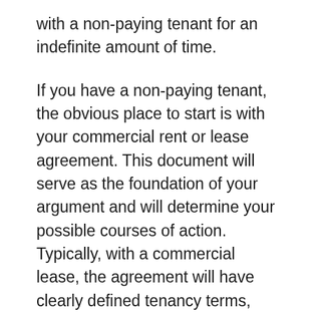with a non-paying tenant for an indefinite amount of time.
If you have a non-paying tenant, the obvious place to start is with your commercial rent or lease agreement. This document will serve as the foundation of your argument and will determine your possible courses of action. Typically, with a commercial lease, the agreement will have clearly defined tenancy terms, which means that your tenant will only have three days to respond to a pay or quit notice